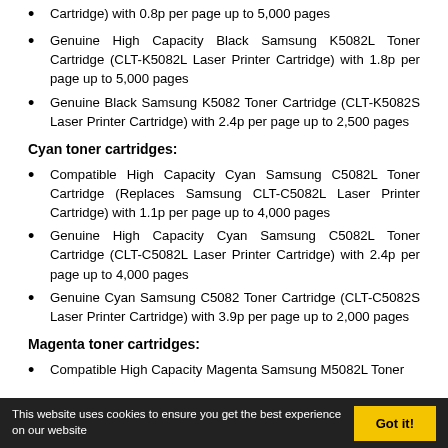Cartridge) with 0.8p per page up to 5,000 pages
Genuine High Capacity Black Samsung K5082L Toner Cartridge (CLT-K5082L Laser Printer Cartridge) with 1.8p per page up to 5,000 pages
Genuine Black Samsung K5082 Toner Cartridge (CLT-K5082S Laser Printer Cartridge) with 2.4p per page up to 2,500 pages
Cyan toner cartridges:
Compatible High Capacity Cyan Samsung C5082L Toner Cartridge (Replaces Samsung CLT-C5082L Laser Printer Cartridge) with 1.1p per page up to 4,000 pages
Genuine High Capacity Cyan Samsung C5082L Toner Cartridge (CLT-C5082L Laser Printer Cartridge) with 2.4p per page up to 4,000 pages
Genuine Cyan Samsung C5082 Toner Cartridge (CLT-C5082S Laser Printer Cartridge) with 3.9p per page up to 2,000 pages
Magenta toner cartridges:
Compatible High Capacity Magenta Samsung M5082L Toner
This website uses cookies to ensure you get the best experience on our website